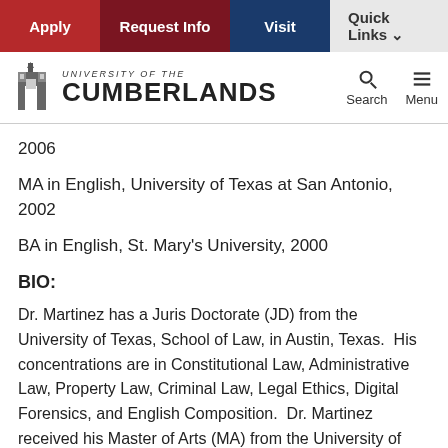Apply | Request Info | Visit | Quick Links
[Figure (logo): University of the Cumberlands logo with castle/building icon and text]
2006
MA in English, University of Texas at San Antonio, 2002
BA in English, St. Mary's University, 2000
BIO:
Dr. Martinez has a Juris Doctorate (JD) from the University of Texas, School of Law, in Austin, Texas.  His concentrations are in Constitutional Law, Administrative Law, Property Law, Criminal Law, Legal Ethics, Digital Forensics, and English Composition.  Dr. Martinez received his Master of Arts (MA) from the University of Texas at San Antonio, where he specialized in English Composition and Rhetoric.  He also has a Bachelor of Arts (BA) from St. Mary's University in his